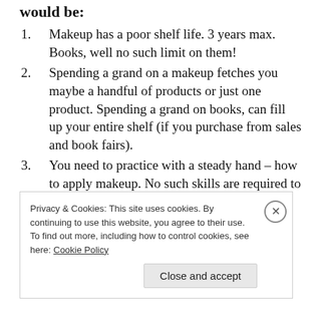would be:
Makeup has a poor shelf life. 3 years max. Books, well no such limit on them!
Spending a grand on a makeup fetches you maybe a handful of products or just one product. Spending a grand on books, can fill up your entire shelf (if you purchase from sales and book fairs).
You need to practice with a steady hand – how to apply makeup. No such skills are required to read a book.
Privacy & Cookies: This site uses cookies. By continuing to use this website, you agree to their use. To find out more, including how to control cookies, see here: Cookie Policy Close and accept